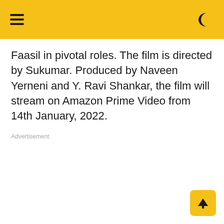[hamburger menu] [dark mode toggle]
Faasil in pivotal roles. The film is directed by Sukumar. Produced by Naveen Yerneni and Y. Ravi Shankar, the film will stream on Amazon Prime Video from 14th January, 2022.
Advertisement